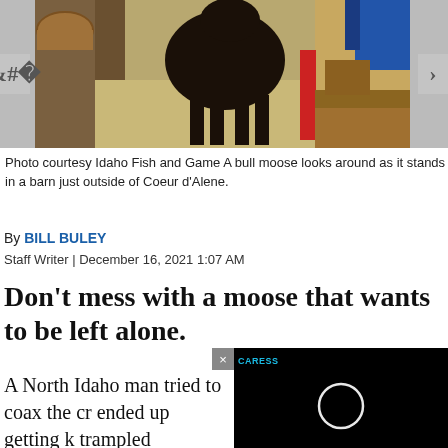[Figure (photo): A bull moose standing inside a barn with hay on the floor, near stalls and farm equipment. Navigation arrows on left and right sides of the image carousel.]
Photo courtesy Idaho Fish and Game A bull moose looks around as it stands in a barn just outside of Coeur d'Alene.
By BILL BULEY
Staff Writer | December 16, 2021 1:07 AM
Don't mess with a moose that wants to be left alone.
A North Idaho man tried to coax the cr ended up getting k trampled
[Figure (screenshot): A video overlay popup with black background showing a circular loading or eclipse-like graphic, with a cyan 'CARESS' label and a close button (x) in the top-left area.]